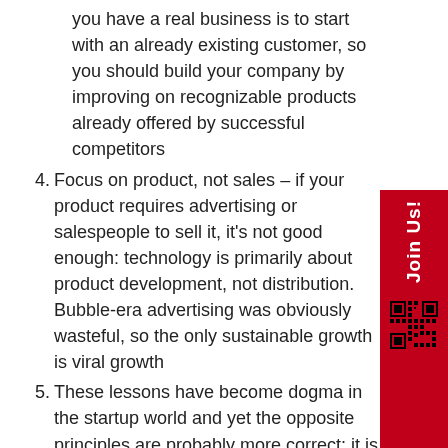you have a real business is to start with an already existing customer, so you should build your company by improving on recognizable products already offered by successful competitors
4. Focus on product, not sales – if your product requires advertising or salespeople to sell it, it's not good enough: technology is primarily about product development, not distribution. Bubble-era advertising was obviously wasteful, so the only sustainable growth is viral growth
5. These lessons have become dogma in the startup world and yet the opposite principles are probably more correct: it is better to risk boldness than triviality, a bad plan is better than no plan, competitive markets destroy profits, sales matters just as much as product. The most contrarian thing of all is not to oppose the crowd but to think for yourself
8. What valuable company is nobody building? Must create